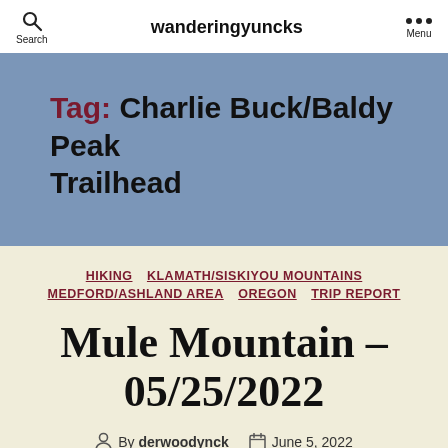wanderingyuncks
Tag: Charlie Buck/Baldy Peak Trailhead
HIKING  KLAMATH/SISKIYOU MOUNTAINS  MEDFORD/ASHLAND AREA  OREGON  TRIP REPORT
Mule Mountain – 05/25/2022
By derwoodynck  June 5, 2022
6 Comments